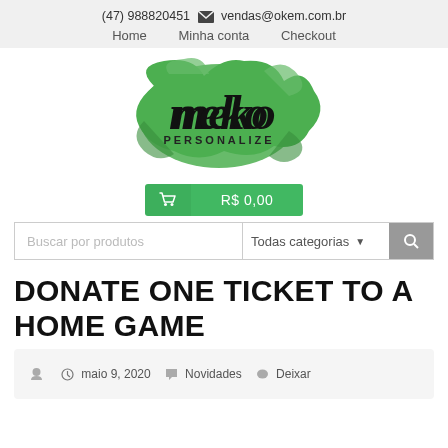(47) 988820451  vendas@okem.com.br
Home    Minha conta    Checkout
[Figure (logo): Meko Personalize logo — stylized green splash with 'meko' in black script and 'PERSONALIZE' in sans-serif below]
R$ 0,00
Buscar por produtos   Todas categorias
DONATE ONE TICKET TO A HOME GAME
maio 9, 2020   Novidades   Deixar